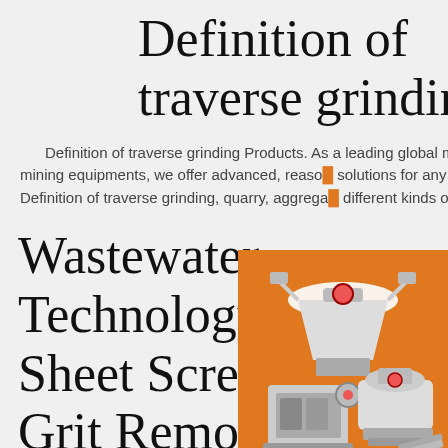Definition of traverse grinding
Definition of traverse grinding Products. As a leading global manufacturer of crushing, grinding and mining equipments, we offer advanced, reasonable solutions for any size-reduction requirements including, Definition of traverse grinding, quarry, aggregate, and different kinds of minerals.
Wastewater Technology Fact Sheet Screening and Grit Removal
[Figure (illustration): Orange sidebar advertisement panel showing mining/crushing equipment machines (cone crusher, jaw crusher, mill), with 'Enjoy 3% discount', 'Click to Chat', 'Enquiry', and 'limingjlmofen@sina.com' contact info.]
Grinders are greatly affected by grit and other